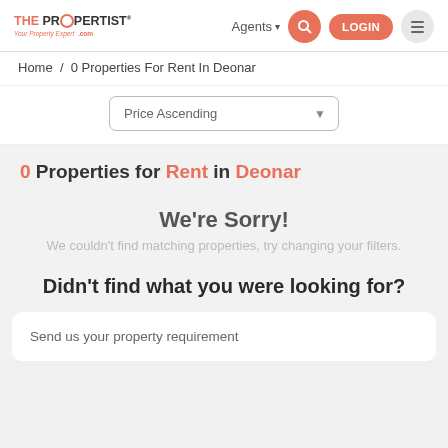[Figure (logo): The Propertist logo with circular O icon and tagline]
Agents ▾
LOGIN
Home / 0 Properties For Rent In Deonar
Price Ascending ▼
0 Properties for Rent in Deonar
We're Sorry!
We couldn't find matching properties, try changing your filters.
Didn't find what you were looking for?
Send us your property requirement